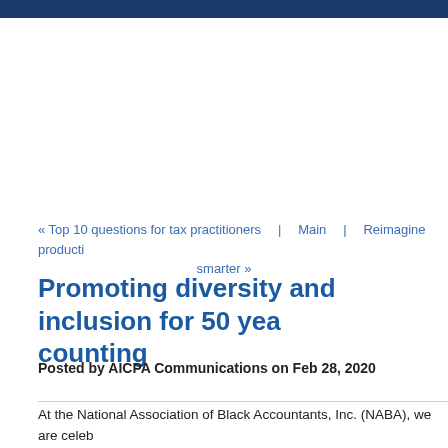« Top 10 questions for tax practitioners  |  Main  |  Reimagine producti… smarter »
Promoting diversity and inclusion for 50 years and counting
Posted by AICPA Communications on Feb 28, 2020
At the National Association of Black Accountants, Inc. (NABA), we are celeb… anniversary of challenge, achievement, success and survival in the diversity… arena. Our business model continues to mature. We honor and salute our p… its dedication to the D&I mission.